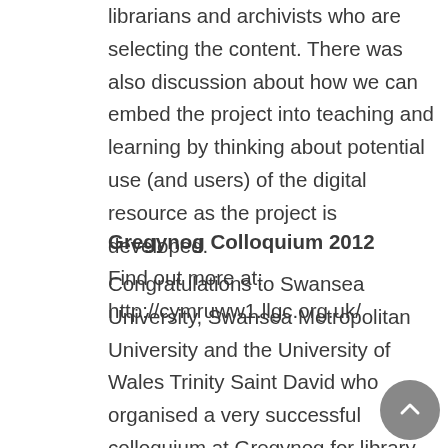librarians and archivists who are selecting the content. There was also discussion about how we can embed the project into teaching and learning by thinking about potential use (and users) of the digital resource as the project is developed. Find out more at: http://cymruww1.llgc.org.uk/
Gregynog Colloquium 2012
Congratulations to Swansea University, Swansea Metropolitan University and the University of Wales Trinity Saint David who organised a very successful colloquium at Gregynog for library and IT staff to discuss recent developments and to exchange experiences. The baton has now been passed to Bangor and Glyndŵr Universities who will take on the organisation of the 2013 event.